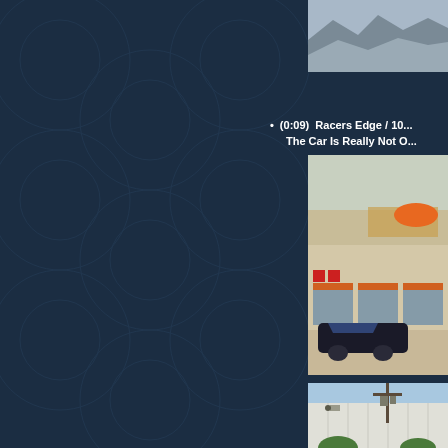[Figure (photo): Partial top photo, mountains or landscape in background, partially visible]
(0:09)  Racers Edge / 10... The Car Is Really Not O...
[Figure (photo): Racers Edge auto parts store exterior with The Racers Edge signage, orange car logo, and a dark car parked in front]
[Figure (photo): Side of a large white commercial building with utility pole and transformer, blue sky background, trees visible at bottom]